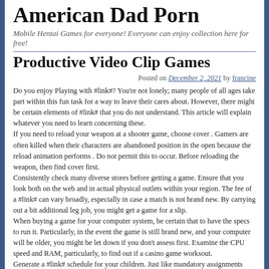American Dad Porn
Mobile Hentai Games for everyone! Everyone can enjoy collection here for free!
Productive Video Clip Games
Posted on December 2, 2021 by francine
Do you enjoy Playing with #link#? You’re not lonely; many people of all ages take part within this fun task for a way to leave their cares about. However, there might be certain elements of #link# that you do not understand. This article will explain whatever you need to learn concerning these.
If you need to reload your weapon at a shooter game, choose cover . Gamers are often killed when their characters are abandoned position in the open because the reload animation performs . Do not permit this to occur. Before reloading the weapon, then find cover first.
Consistently check many diverse stores before getting a game. Ensure that you look both on the web and in actual physical outlets within your region. The fee of a #link# can vary broadly, especially in case a match is not brand new. By carrying out a bit additional leg job, you might get a game for a slip.
When buying a game for your computer system, be certain that to have the specs to run it. Particularly, in the event the game is still brand new, and your computer will be older, you might be let down if you don’t assess first. Examine the CPU speed and RAM, particularly, to find out if a casino game worksout.
Generate a #link# schedule for your children. Just like mandatory assignments time, this #link# program will probably help take charge of the child’s customs. After the occasions have been put, stick to this program. Do not down because of begging or whining. The program is just effective if you follow through.
Before playing a new video game, see the cheat publication. Many matches have a novel you can buy individually. You might need to consider doing this and reading it before you